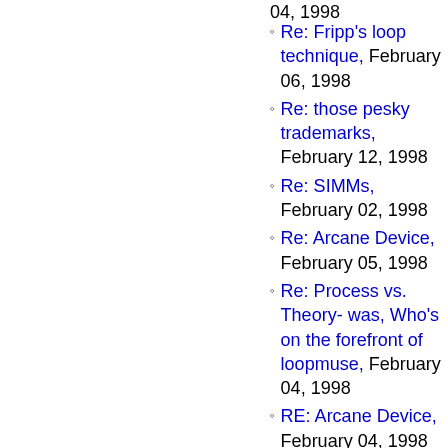04, 1998
Re: Fripp's loop technique, February 06, 1998
Re: those pesky trademarks, February 12, 1998
Re: SIMMs, February 02, 1998
Re: Arcane Device, February 05, 1998
Re: Process vs. Theory- was, Who's on the forefront of loopmuse, February 04, 1998
RE: Arcane Device, February 04, 1998
Re: New looper wannabe..., February 10, 1998
Alesis, February 17, 1998
Re: Pivotal loop moments, or, when did you realize